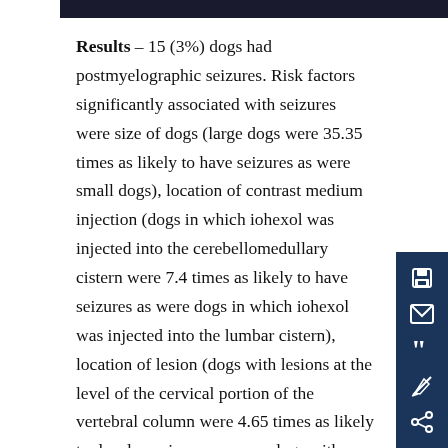Results – 15 (3%) dogs had postmyelographic seizures. Risk factors significantly associated with seizures were size of dogs (large dogs were 35.35 times as likely to have seizures as were small dogs), location of contrast medium injection (dogs in which iohexol was injected into the cerebellomedullary cistern were 7.4 times as likely to have seizures as were dogs in which iohexol was injected into the lumbar cistern), location of lesion (dogs with lesions at the level of the cervical portion of the vertebral column were 4.65 times as likely to develop seizures as were dogs with lesions in other regions), and total volume of iohexol. Mean